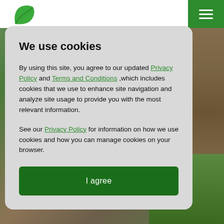[Figure (logo): Green leaf logo in top left corner of navigation bar]
[Figure (illustration): Green hamburger menu button in top right corner]
[Figure (photo): Background photo of a tree trunk with green grass, partially visible on the right side of the page]
We use cookies
By using this site, you agree to our updated Privacy Policy and Terms and Conditions ,which includes cookies that we use to enhance site navigation and analyze site usage to provide you with the most relevant information.
See our Privacy Policy for information on how we use cookies and how you can manage cookies on your browser.
I agree